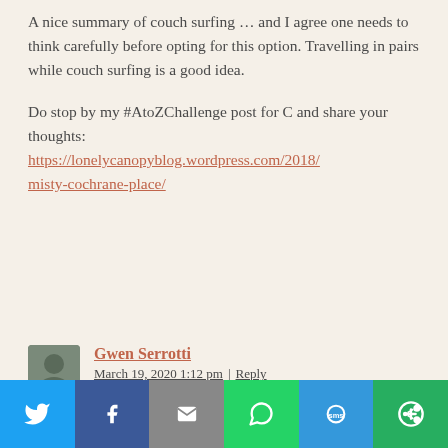A nice summary of couch surfing … and I agree one needs to think carefully before opting for this option. Travelling in pairs while couch surfing is a good idea.
Do stop by my #AtoZChallenge post for C and share your thoughts: https://lonelycanopyblog.wordpress.com/2018/misty-cochrane-place/
Gwen Serrotti
March 19, 2020 1:12 pm | Reply
I have never heard of this before. What a great concept if you are travelling on a